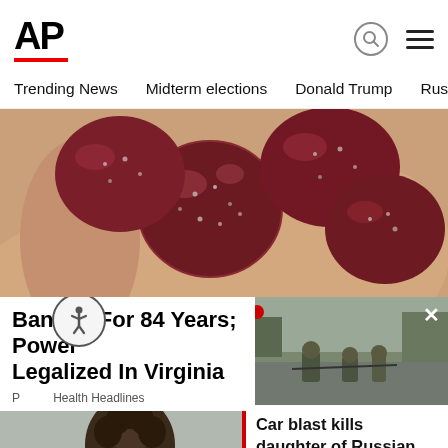[Figure (logo): AP (Associated Press) logo in bold black text with red underline bar]
Trending News   Midterm elections   Donald Trump   Russia-Ukr
[Figure (photo): Close-up photo of a hand holding several dark red/maroon sugar-coated gummy candies]
Banned For 84 Years; Power Legalized In Virginia
P... Health Headlines
[Figure (photo): Dark photo showing a person with curly hair outdoors]
[Figure (photo): Photo of soldiers/military personnel working on a road or pavement area, with an X close button overlay]
Car blast kills daughter of Russian known as 'Putin's ...